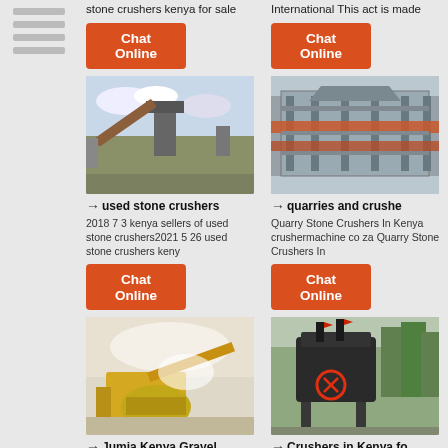stone crushers kenya for sale
Chat Online
International This act is made
Chat Online
[Figure (photo): Industrial stone crusher plant with belt conveyor against cloudy sky]
→ used stone crushers
2018 7 3 kenya sellers of used stone crushers2021 5 26 used stone crushers keny
Chat Online
[Figure (photo): Industrial screening and crushing equipment, large grey metal frame structure with orange conveyor belts]
→ quarries and crushe
Quarry Stone Crushers In Kenya crushermachine co za Quarry Stone Crushers In
Chat Online
[Figure (photo): Yellow and white stone crushing and gravel screening machinery at a quarry, dust cloud visible]
→ Jumia Kenya Gravel
[Figure (photo): Dark industrial crusher mounted on stilts among trees, red circle marker and red flag indicators visible]
→ Crushers in Kenya fo